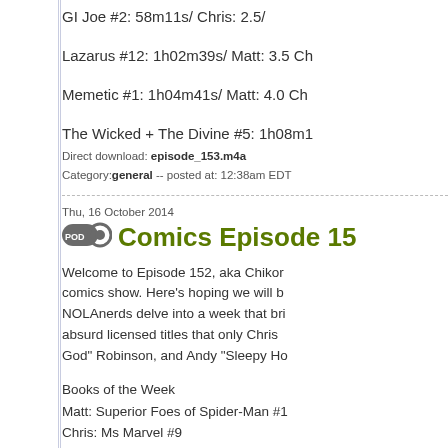GI Joe #2: 58m11s/ Chris: 2.5/
Lazarus #12: 1h02m39s/ Matt: 3.5 Ch
Memetic #1: 1h04m41s/ Matt: 4.0 Ch
The Wicked + The Divine #5: 1h08m1
Direct download: episode_153.m4a
Category: general -- posted at: 12:38am EDT
Thu, 16 October 2014
Comics Episode 15
Welcome to Episode 152, aka Chikor comics show. Here's hoping we will b NOLAnerds delve into a week that bri absurd licensed titles that only Chris God" Robinson, and Andy "Sleepy Ho
Books of the Week
Matt: Superior Foes of Spider-Man #1
Chris: Ms Marvel #9
Email: 01m12s/
Current Events: 05m19s/
Gotham Watch: 12m35s/